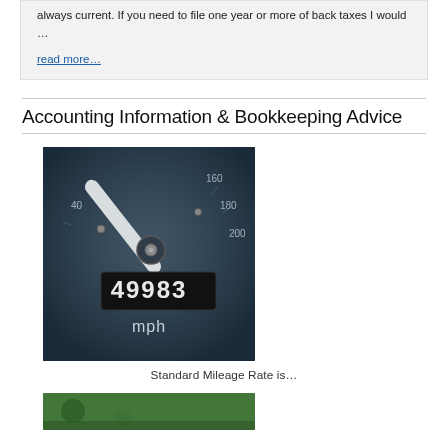always current. If you need to file one year or more of back taxes I would …
read more…
Accounting Information & Bookkeeping Advice
[Figure (photo): Close-up photo of a car speedometer showing 49983 mph]
Standard Mileage Rate is…
[Figure (photo): Partial photo at bottom of page, green colored image]